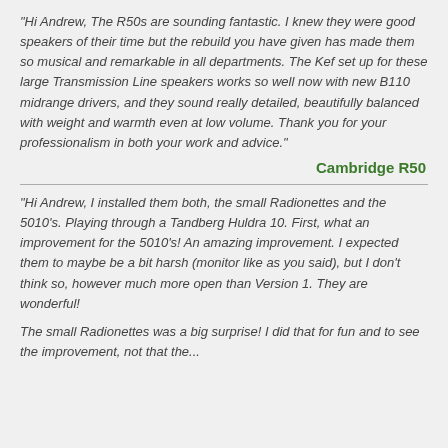"Hi Andrew, The R50s are sounding fantastic. I knew they were good speakers of their time but the rebuild you have given has made them so musical and remarkable in all departments. The Kef set up for these large Transmission Line speakers works so well now with new B110 midrange drivers, and they sound really detailed, beautifully balanced with weight and warmth even at low volume. Thank you for your professionalism in both your work and advice."
Cambridge R50
"Hi Andrew, I installed them both, the small Radionettes and the 5010's. Playing through a Tandberg Huldra 10. First, what an improvement for the 5010's! An amazing improvement. I expected them to maybe be a bit harsh (monitor like as you said), but I don't think so, however much more open than Version 1. They are wonderful!
The small Radionettes was a big surprise! I did that for fun and to see the improvement, not that the...